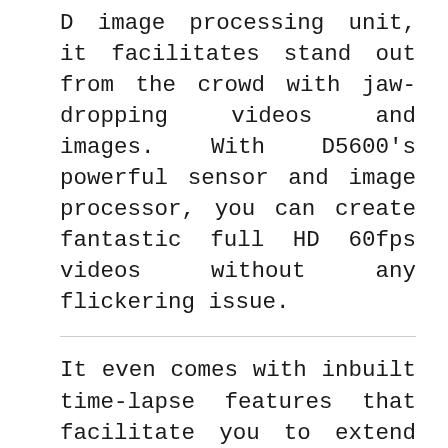D image processing unit, it facilitates stand out from the crowd with jaw-dropping videos and images. With D5600's powerful sensor and image processor, you can create fantastic full HD 60fps videos without any flickering issue.
It even comes with inbuilt time-lapse features that facilitate you to extend your creative boundary and bring a spark in your Instagram travel profile. When you couple this DSLR with an 18-55mm kit lens, you will be able to capture images with mind-boggling clarity, low-noise, and detailing.
Whether you want to shoot in dawn, mid-day, or dusk, outdoor light will never ruin your photos.